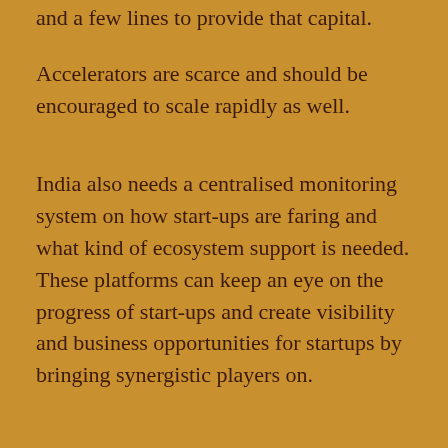and a few lines to provide that capital.
Accelerators are scarce and should be encouraged to scale rapidly as well.
India also needs a centralised monitoring system on how start-ups are faring and what kind of ecosystem support is needed. These platforms can keep an eye on the progress of start-ups and create visibility and business opportunities for startups by bringing synergistic players on.
For example, start-ups can raise initial capital and receive visibility on the platform. They are then discovered by larger enterprises that need their services. Such platforms can be initially